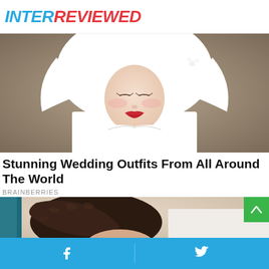INTERREVIEWED
[Figure (photo): Japanese bride in traditional white wedding kimono and white tsunokakushi hood, eyes closed, red lips, looking down]
Stunning Wedding Outfits From All Around The World
BRAINBERRIES
[Figure (photo): Partial view of a second wedding photo, partially visible at bottom of page, with a green scroll-to-top button overlay]
Facebook share button | Twitter share button